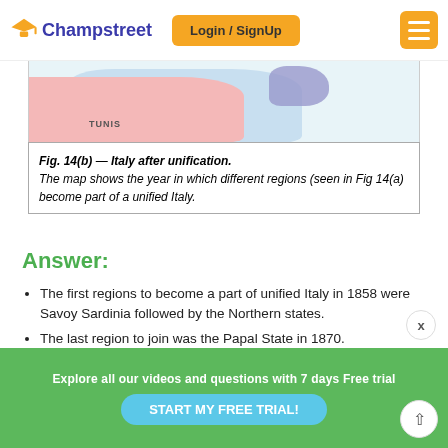Champstreet | Login / SignUp
[Figure (map): Partial map showing Italy region with pink, blue, and purple colored areas. Label 'TUNIS' visible.]
Fig. 14(b) — Italy after unification. The map shows the year in which different regions (seen in Fig 14(a) become part of a unified Italy.
Answer:
The first regions to become a part of unified Italy in 1858 were Savoy Sardinia followed by the Northern states.
The last region to join was the Papal State in 1870.
The largest number of states joined in 1860.
Explore all our videos and questions with 7 days Free trial | START MY FREE TRIAL!